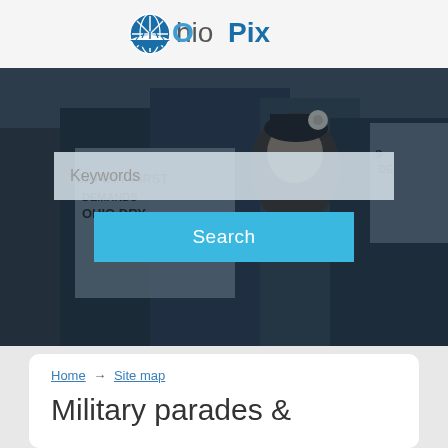OhioPix
[Figure (photo): Black and white photograph of women holding protest signs including 'Safety First Demands Ohio Dry', with a woman wearing a flower hat in foreground, overlaid with a semi-transparent dark blue tint]
Keywords
Search
Home → Site map
Military parades &